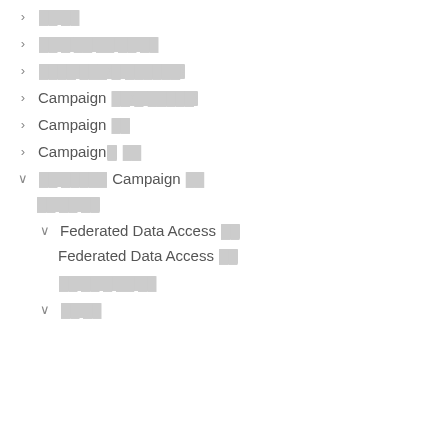▶ [redacted]
▶ [redacted]
▶ [redacted]
▶ Campaign [redacted]
▶ Campaign [redacted]
▶ Campaign [redacted]
▼ [redacted] Campaign [redacted]
[redacted]
▼ Federated Data Access [redacted]
Federated Data Access [redacted]
[redacted]
▼ [redacted]